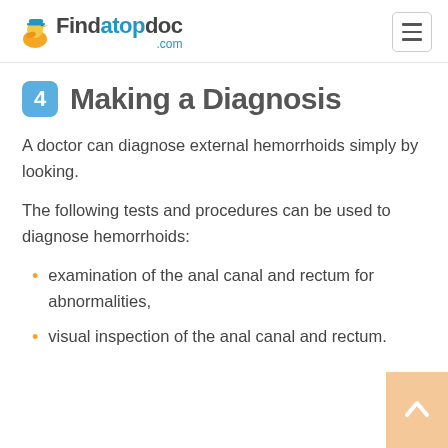Findatopdoc.com
4 Making a Diagnosis
A doctor can diagnose external hemorrhoids simply by looking.
The following tests and procedures can be used to diagnose hemorrhoids:
examination of the anal canal and rectum for abnormalities,
visual inspection of the anal canal and rectum.